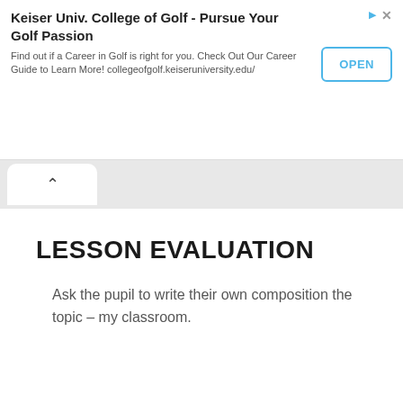[Figure (other): Advertisement banner: Keiser Univ. College of Golf - Pursue Your Golf Passion. Find out if a Career in Golf is right for you. Check Out Our Career Guide to Learn More! collegeofgolf.keiseruniversity.edu/ with an OPEN button.]
LESSON EVALUATION
Ask the pupil to write their own composition the topic – my classroom.